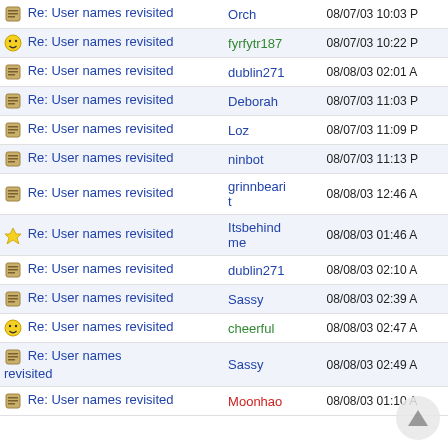| Subject | Author | Date |
| --- | --- | --- |
| Re: User names revisited | Orch | 08/07/03 10:03 P |
| Re: User names revisited | fyrfytr187 | 08/07/03 10:22 P |
| Re: User names revisited | dublin271 | 08/08/03 02:01 A |
| Re: User names revisited | Deborah | 08/07/03 11:03 P |
| Re: User names revisited | Loz | 08/07/03 11:09 P |
| Re: User names revisited | ninbot | 08/07/03 11:13 P |
| Re: User names revisited | grinnbearit | 08/08/03 12:46 A |
| Re: User names revisited | Itsbehindme | 08/08/03 01:46 A |
| Re: User names revisited | dublin271 | 08/08/03 02:10 A |
| Re: User names revisited | Sassy | 08/08/03 02:39 A |
| Re: User names revisited | cheerful | 08/08/03 02:47 A |
| Re: User names revisited | Sassy | 08/08/03 02:49 A |
| Re: User names revisited | Moonhao | 08/08/03 01:10 A |